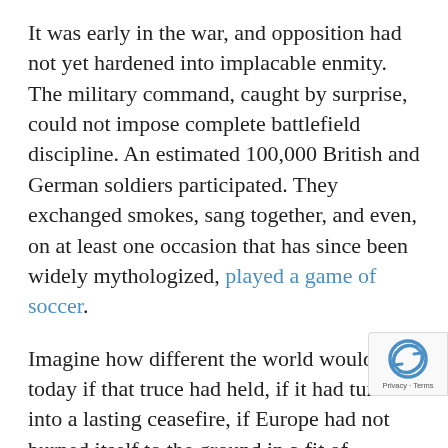It was early in the war, and opposition had not yet hardened into implacable enmity. The military command, caught by surprise, could not impose complete battlefield discipline. An estimated 100,000 British and German soldiers participated. They exchanged smokes, sang together, and even, on at least one occasion that has since been widely mythologized, played a game of soccer.
Imagine how different the world would look today if that truce had held, if it had turned into a lasting ceasefire, if Europe had not burned itself to the ground in a fit of nationalist pique. There might not have been a global flu epidemic spread by soldiers in 1918. The Nazis might not have seized power and precipitated the Holocaust. World War II might never have happened and nuclear weapons never used.
At the very least, nearly 20 million people would...